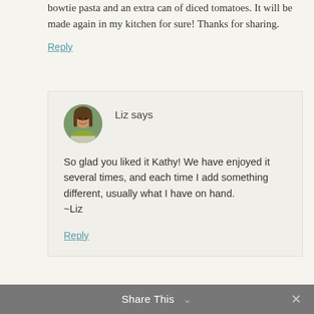bowtie pasta and an extra can of diced tomatoes. It will be made again in my kitchen for sure! Thanks for sharing.
Reply
[Figure (photo): Small circular avatar photo of a woman with long brown hair and a green scarf outdoors.]
Liz says
So glad you liked it Kathy! We have enjoyed it several times, and each time I add something different, usually what I have on hand.
~Liz
Reply
Share This ∨  ✕